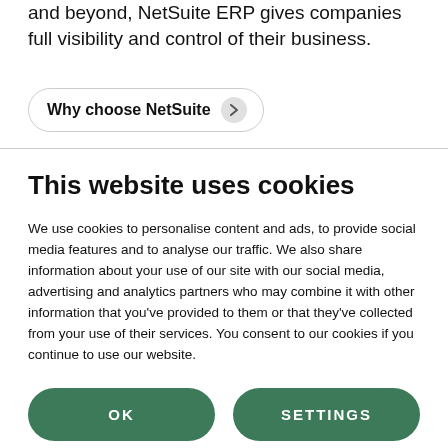and beyond, NetSuite ERP gives companies full visibility and control of their business.
Why choose NetSuite
This website uses cookies
We use cookies to personalise content and ads, to provide social media features and to analyse our traffic. We also share information about your use of our site with our social media, advertising and analytics partners who may combine it with other information that you've provided to them or that they've collected from your use of their services. You consent to our cookies if you continue to use our website.
OK
SETTINGS